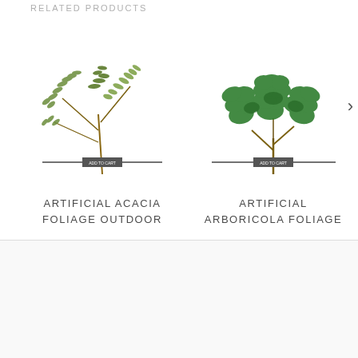RELATED PRODUCTS
[Figure (illustration): Artificial Acacia Foliage Outdoor plant illustration with dark bar and button overlay]
ARTIFICIAL ACACIA FOLIAGE OUTDOOR
[Figure (illustration): Artificial Arboricola Foliage plant illustration with dark bar and button overlay]
ARTIFICIAL ARBORICOLA FOLIAGE
Explore
Advantages